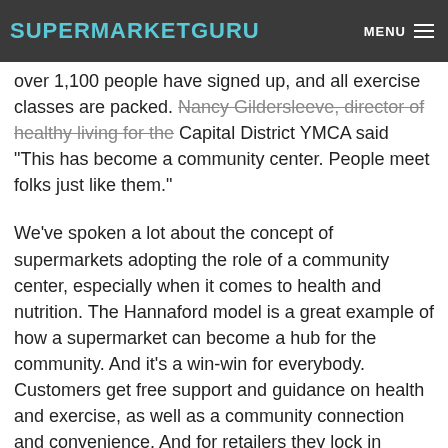SUPERMARKETGURU | MENU
over 1,100 people have signed up, and all exercise classes are packed. Nancy Gildersleeve, director of healthy living for the Capital District YMCA said "This has become a community center. People meet folks just like them."
We've spoken a lot about the concept of supermarkets adopting the role of a community center, especially when it comes to health and nutrition. The Hannaford model is a great example of how a supermarket can become a hub for the community. And it's a win-win for everybody. Customers get free support and guidance on health and exercise, as well as a community connection and convenience. And for retailers they lock in